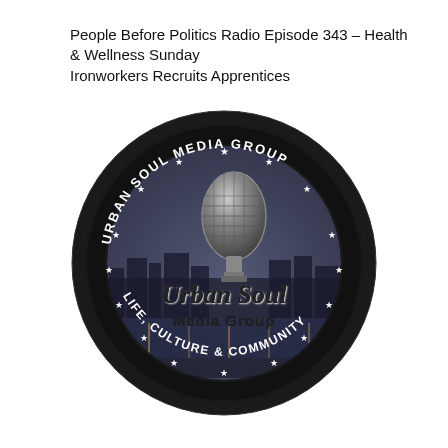People Before Politics Radio Episode 343 – Health & Wellness Sunday
Ironworkers Recruits Apprentices
[Figure (logo): Urban Soul Media Group circular logo with a vintage microphone in the center, city skyline background, text 'Urban Soul Media Group' along the top arc and 'Life, Culture & Community' along the bottom arc, with decorative stars around the inner ring.]